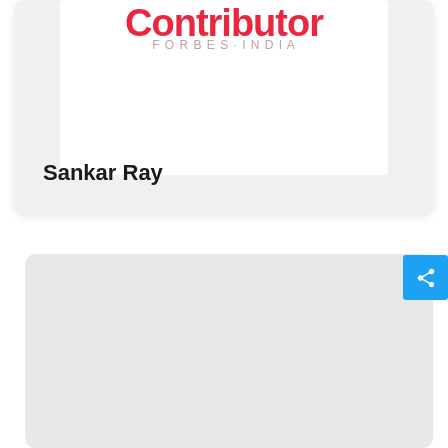[Figure (screenshot): Top card showing partial 'Contributor' text in red with a white image area on a light gray card background]
Sankar Ray
[Figure (screenshot): Bottom light gray card area with a blue share button in the top-right corner]